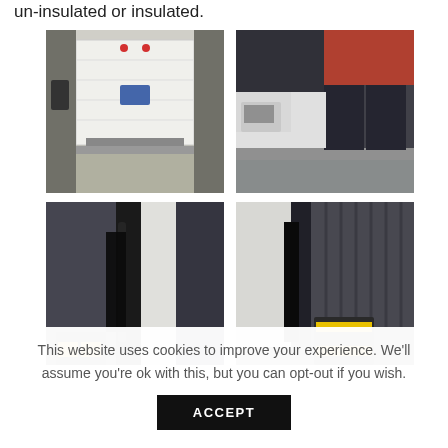un-insulated or insulated.
[Figure (photo): Interior view of an open sectional loading dock door, white panels, with dock leveler visible at bottom, control panel on left wall]
[Figure (photo): Exterior view of a warehouse with trucks backed up to dark grey loading dock shelters, red brick upper wall visible]
[Figure (photo): Close-up of loading dock side seal/shelter with black foam seal and dock equipment visible at bottom]
[Figure (photo): Close-up of loading dock corner with black and yellow dock bumper visible at bottom right]
This website uses cookies to improve your experience. We'll assume you're ok with this, but you can opt-out if you wish.
ACCEPT